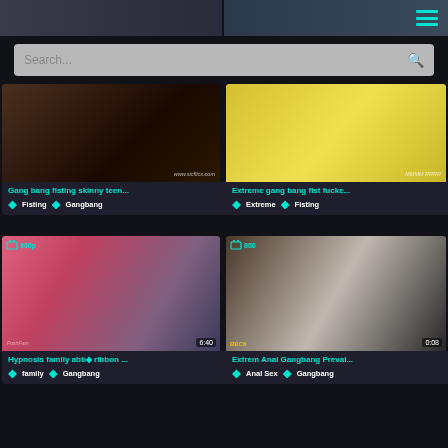[Figure (screenshot): Video thumbnail 1 - dark scene]
[Figure (screenshot): Video thumbnail 2 - yellow background]
Search...
Gang bang fisting skinny teen...
Fisting  Gangbang
Extreme gang bang fist fucke...
Extreme  Fisting
[Figure (screenshot): Video thumbnail 3 - pink outfit kitchen scene, 800p, 6:40]
Hypnosis family abb◆ ribbon ...
family  Gangbang
[Figure (screenshot): Video thumbnail 4 - group scene white outfit, 800, 0:08]
Extrem Anal Gangbang Preval...
Anal Sex  Gangbang